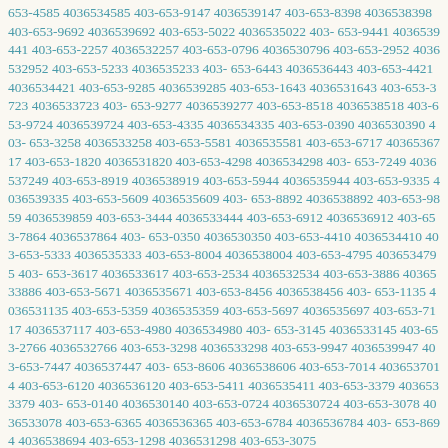653-4585 4036534585 403-653-9147 4036539147 403-653-8398 4036538398 403-653-9692 4036539692 403-653-5022 4036535022 403-653-9441 4036539441 403-653-2257 4036532257 403-653-0796 4036530796 403-653-2952 4036532952 403-653-5233 4036535233 403-653-6443 4036536443 403-653-4421 4036534421 403-653-9285 4036539285 403-653-1643 4036531643 403-653-3723 4036533723 403-653-9277 4036539277 403-653-8518 4036538518 403-653-9724 4036539724 403-653-4335 4036534335 403-653-0390 4036530390 403-653-3258 4036533258 403-653-5581 4036535581 403-653-6717 4036536717 403-653-1820 4036531820 403-653-4298 4036534298 403-653-7249 4036537249 403-653-8919 4036538919 403-653-5944 4036535944 403-653-9335 4036539335 403-653-5609 4036535609 403-653-8892 4036538892 403-653-9859 4036539859 403-653-3444 4036533444 403-653-6912 4036536912 403-653-7864 4036537864 403-653-0350 4036530350 403-653-4410 4036534410 403-653-5333 4036535333 403-653-8004 4036538004 403-653-4795 4036534795 403-653-3617 4036533617 403-653-2534 4036532534 403-653-3886 4036533886 403-653-5671 4036535671 403-653-8456 4036538456 403-653-1135 4036531135 403-653-5359 4036535359 403-653-5697 4036535697 403-653-7117 4036537117 403-653-4980 4036534980 403-653-3145 4036533145 403-653-2766 4036532766 403-653-3298 4036533298 403-653-9947 4036539947 403-653-7447 4036537447 403-653-8606 4036538606 403-653-7014 4036537014 403-653-6120 4036536120 403-653-5411 4036535411 403-653-3379 4036533379 403-653-0140 4036530140 403-653-0724 4036530724 403-653-3078 4036533078 403-653-6365 4036536365 403-653-6784 4036536784 403-653-8694 4036538694 403-653-1298 4036531298 403-653-3075